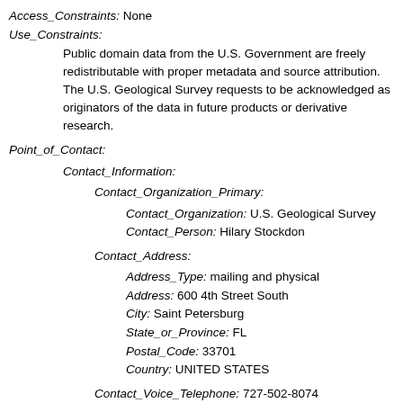Access_Constraints: None
Use_Constraints:
Public domain data from the U.S. Government are freely redistributable with proper metadata and source attribution. The U.S. Geological Survey requests to be acknowledged as originators of the data in future products or derivative research.
Point_of_Contact:
Contact_Information:
Contact_Organization_Primary:
Contact_Organization: U.S. Geological Survey
Contact_Person: Hilary Stockdon
Contact_Address:
Address_Type: mailing and physical
Address: 600 4th Street South
City: Saint Petersburg
State_or_Province: FL
Postal_Code: 33701
Country: UNITED STATES
Contact_Voice_Telephone: 727-502-8074
Contact_Facsimile_Telephone: 727-502-8182